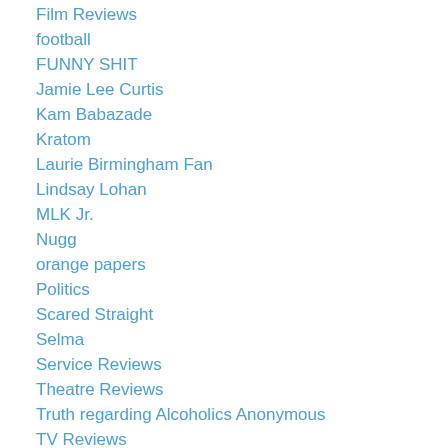Film Reviews
football
FUNNY SHIT
Jamie Lee Curtis
Kam Babazade
Kratom
Laurie Birmingham Fan
Lindsay Lohan
MLK Jr.
Nugg
orange papers
Politics
Scared Straight
Selma
Service Reviews
Theatre Reviews
Truth regarding Alcoholics Anonymous
TV Reviews
Uncategorized
why AA attracts assholes